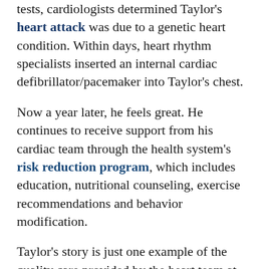tests, cardiologists determined Taylor's heart attack was due to a genetic heart condition. Within days, heart rhythm specialists inserted an internal cardiac defibrillator/pacemaker into Taylor's chest.
Now a year later, he feels great. He continues to receive support from his cardiac team through the health system's risk reduction program, which includes education, nutritional counseling, exercise recommendations and behavior modification.
Taylor's story is just one example of the quality care provided by the heart team at The University of Kansas Health System.
"Our patients receive leading-edge preventive, diagnostic, treatment and follow-up care," says Matthew Eamest, MD, cardiologist at The University of Kansas Health System. "Patients here experience